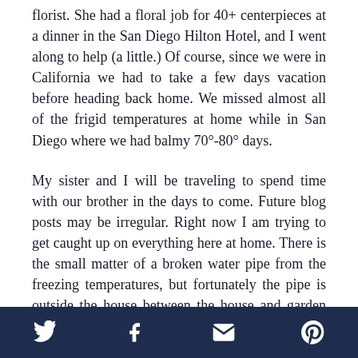florist. She had a floral job for 40+ centerpieces at a dinner in the San Diego Hilton Hotel, and I went along to help (a little.) Of course, since we were in California we had to take a few days vacation before heading back home. We missed almost all of the frigid temperatures at home while in San Diego where we had balmy 70°-80° days.
My sister and I will be traveling to spend time with our brother in the days to come. Future blog posts may be irregular. Right now I am trying to get caught up on everything here at home. There is the small matter of a broken water pipe from the freezing temperatures, but fortunately the pipe is outside the house between the house and garden shed. The cut-off water valve works as designed and allows us to have water in the house. No pressure to get the outside pipe
Social share icons: Twitter, Facebook, Email, Pinterest